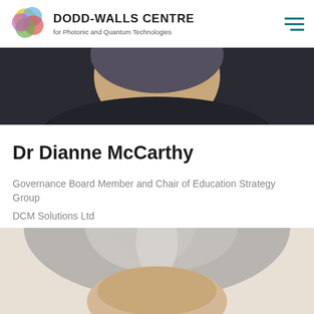Dodd-Walls Centre for Photonic and Quantum Technologies
[Figure (photo): Cropped top portion of a person's head with dark background, top photo strip]
Dr Dianne McCarthy
Governance Board Member and Chair of Education Strategy Group
DCM Solutions Ltd
[Figure (photo): Portrait photo of Dr Dianne McCarthy, a woman with gray/silver hair, visible from above the eyes upward, cropped at bottom of page]